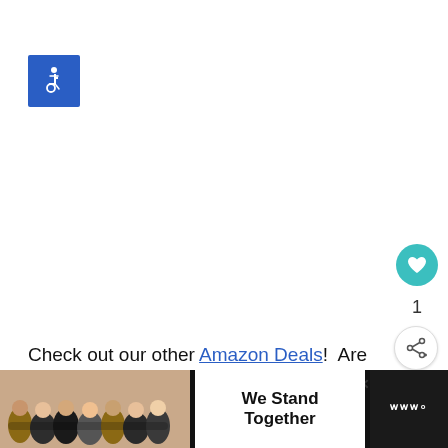[Figure (logo): Blue square accessibility/wheelchair icon]
[Figure (other): Teal circular like/heart button with heart icon]
1
[Figure (other): White circular share button with share icon]
Check out our other Amazon Deals!  Are you a student?  Check out Amazon Student as well!
[Figure (photo): Advertisement banner: group of people hugging, text 'We Stand Together', dark background with logo]